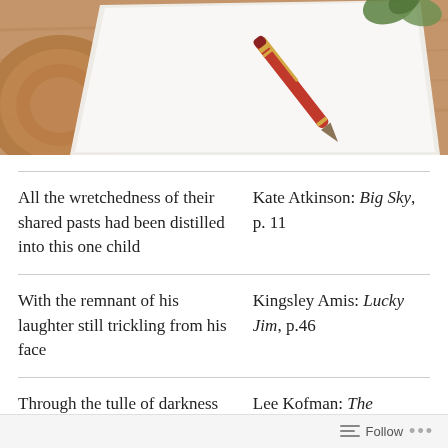[Figure (photo): A red pen resting on a blank white sheet of paper on a wooden table, with a round wooden slice visible on the left and green leaves in the upper right corner.]
| All the wretchedness of their shared pasts had been distilled into this one child | Kate Atkinson: Big Sky, p. 11 |
| With the remnant of his laughter still trickling from his face | Kingsley Amis: Lucky Jim, p.46 |
| Through the tulle of darkness | Lee Kofman: The |
Follow ...